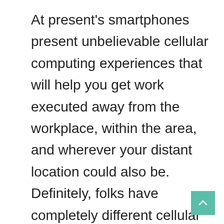At present's smartphones present unbelievable cellular computing experiences that will help you get work executed away from the workplace, within the area, and wherever your distant location could also be. Definitely, folks have completely different cellular wants, however each smartphone on this checklist is greater than able to offering all of the important capabilities that almost all customers may ever need in a cellular system.

Some smartphones excel at images, some